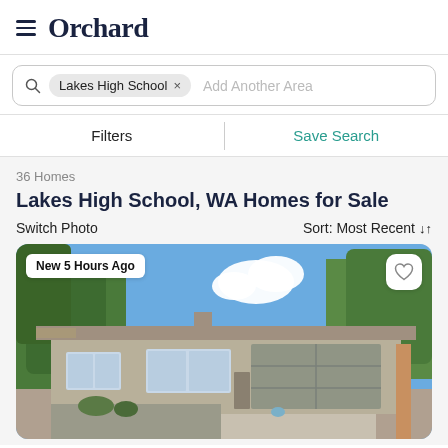Orchard
Lakes High School × Add Another Area
Filters | Save Search
36 Homes
Lakes High School, WA Homes for Sale
Switch Photo   Sort: Most Recent
[Figure (photo): Exterior photo of a single-story ranch-style house with gray siding, white-trimmed windows, a gray two-car garage door, surrounded by tall trees under a blue sky with clouds. A badge reads 'New 5 Hours Ago' in the top left corner and a heart icon is in the top right corner.]